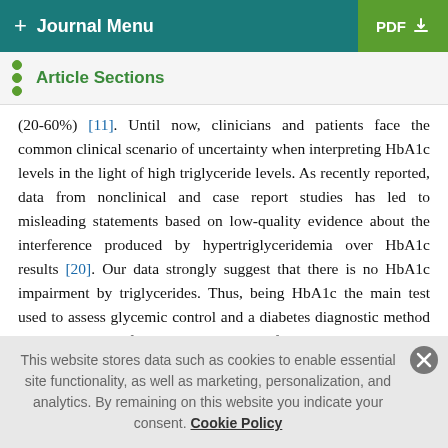+ Journal Menu | PDF
Article Sections
(20-60%) [11]. Until now, clinicians and patients face the common clinical scenario of uncertainty when interpreting HbA1c levels in the light of high triglyceride levels. As recently reported, data from nonclinical and case report studies has led to misleading statements based on low-quality evidence about the interference produced by hypertriglyceridemia over HbA1c results [20]. Our data strongly suggest that there is no HbA1c impairment by triglycerides. Thus, being HbA1c the main test used to assess glycemic control and a diabetes diagnostic method [21], the results of our study provide useful and relevant data that should be applied in daily clinical practice. Also, the
This website stores data such as cookies to enable essential site functionality, as well as marketing, personalization, and analytics. By remaining on this website you indicate your consent. Cookie Policy